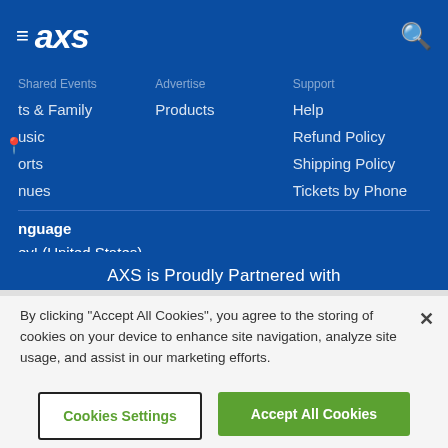≡ axs
ts & Family
usic
orts
nues
Products
Help
Refund Policy
Shipping Policy
Tickets by Phone
nguage
ey! (United States)
ello! (United Kingdom)
allå! (Sverige)
AXS is Proudly Partnered with
By clicking "Accept All Cookies", you agree to the storing of cookies on your device to enhance site navigation, analyze site usage, and assist in our marketing efforts.
Cookies Settings
Accept All Cookies